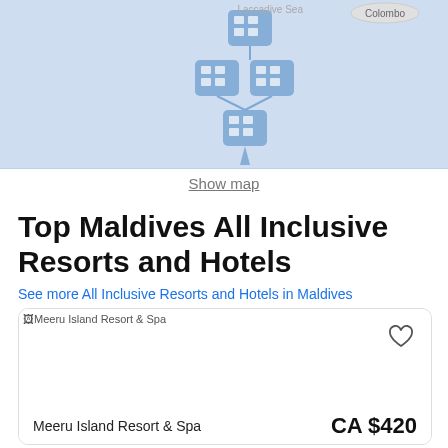[Figure (map): Map showing Maldives region with hotel cluster icons, Laccadive Sea label, and Colombo label with circle marker]
Show map
Top Maldives All Inclusive Resorts and Hotels
See more All Inclusive Resorts and Hotels in Maldives
[Figure (screenshot): Hotel card for Meeru Island Resort & Spa with image placeholder, wishlist heart icon, hotel name and price CA $420]
Meeru Island Resort & Spa
CA $420